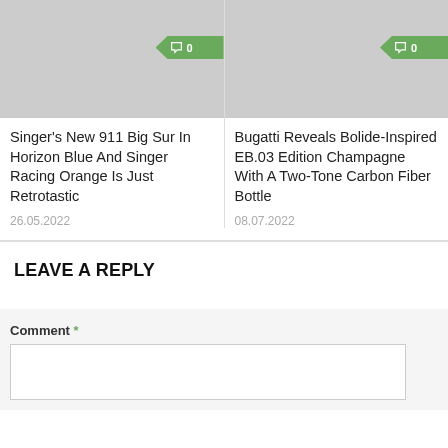[Figure (photo): Gray placeholder image for Singer's New 911 article with green comment badge showing 0]
[Figure (photo): Gray placeholder image for Bugatti Reveals article with green comment badge showing 0]
Singer's New 911 Big Sur In Horizon Blue And Singer Racing Orange Is Just Retrotastic
26.05.2022
Bugatti Reveals Bolide-Inspired EB.03 Edition Champagne With A Two-Tone Carbon Fiber Bottle
08.07.2022
LEAVE A REPLY
Comment *